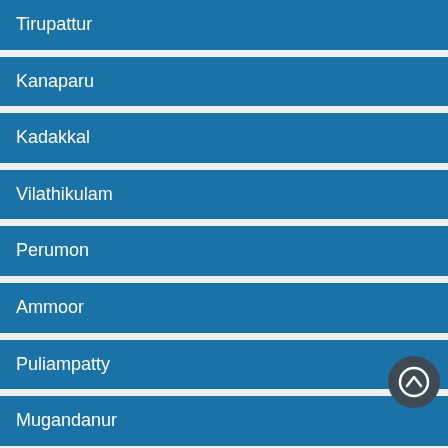Tirupattur
Kanaparu
Kadakkal
Vilathikulam
Perumon
Ammoor
Puliampatty
Mugandanur
Gummidipoondi
Ponnapally
Pattimattam